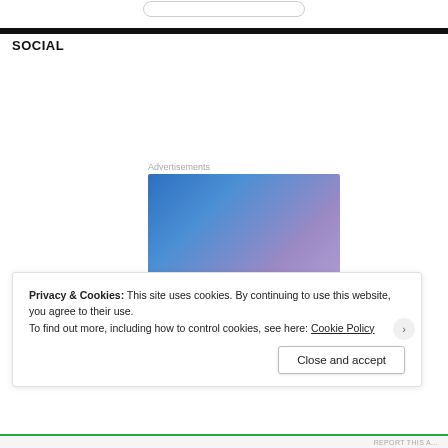SOCIAL
Advertisements
[Figure (illustration): Blue-to-purple gradient advertisement block with partially visible white italic text at the bottom]
Privacy & Cookies: This site uses cookies. By continuing to use this website, you agree to their use.
To find out more, including how to control cookies, see here: Cookie Policy
Close and accept